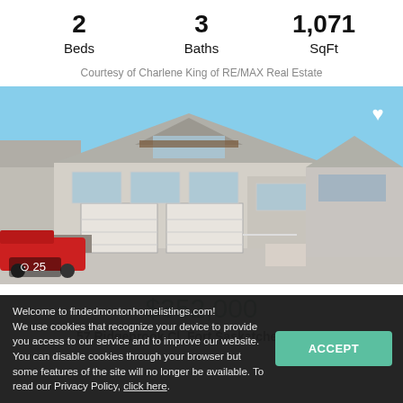2 Beds  |  3 Baths  |  1,071 SqFt
Courtesy of Charlene King of RE/MAX Real Estate
[Figure (photo): Exterior photo of a two-story residential home with attached garage, blue sky background, red truck partially visible, with a heart/favorite icon and photo count badge showing 25 photos.]
$352,000
57 Ridgebrook Cl, Fort Saskatchewan, AB
Welcome to findedmontonhomelistings.com! We use cookies that recognize your device to provide you access to our service and to improve our website. You can disable cookies through your browser but some features of the site will no longer be available. To read our Privacy Policy, click here.